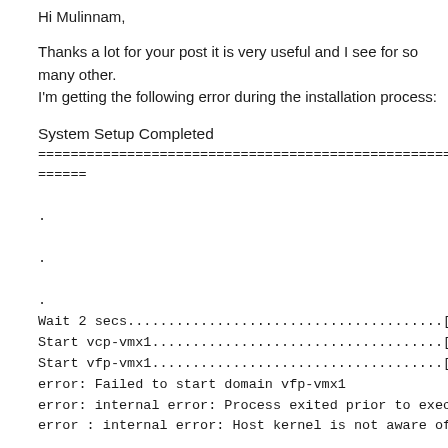Hi Mulinnam,
Thanks a lot for your post it is very useful and I see for so many other.
I'm getting the following error during the installation process:
System Setup Completed
======================================================
======
.
.
.
Wait 2 secs.......................................[OK]
Start vcp-vmx1....................................[OK]
Start vfp-vmx1....................................[Failed]
error: Failed to start domain vfp-vmx1
error: internal error: Process exited prior to exec: libvirt:
error : internal error: Host kernel is not aware of NUMA.